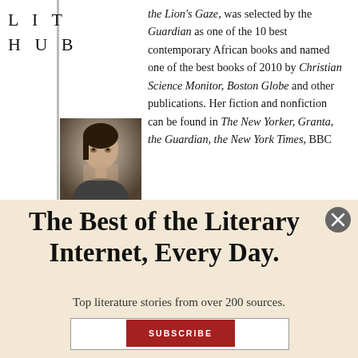LIT HUB
the Lion's Gaze, was selected by the Guardian as one of the 10 best contemporary African books and named one of the best books of 2010 by Christian Science Monitor, Boston Globe and other publications. Her fiction and nonfiction can be found in The New Yorker, Granta, the Guardian, the New York Times, BBC
[Figure (photo): Black and white portrait photo of a woman]
The Best of the Literary Internet, Every Day.
Top literature stories from over 200 sources.
SUBSCRIBE